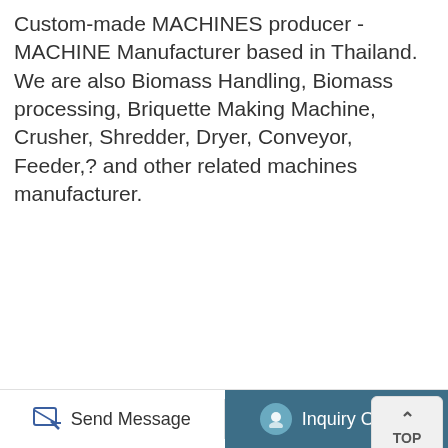Custom-made MACHINES producer - MACHINE Manufacturer based in Thailand. We are also Biomass Handling, Biomass processing, Briquette Making Machine, Crusher, Shredder, Dryer, Conveyor, Feeder,? and other related machines manufacturer.
[Figure (other): Blue industrial machine with hydraulic fittings, hoses, gauges, a black junction box, and brass pipe connectors]
[Figure (other): TOP navigation button with upward chevron arrow in light grey rounded rectangle]